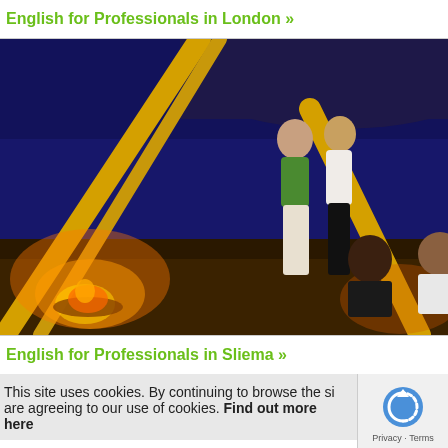English for Professionals in London »
[Figure (photo): Group of young people gathered around a campfire on a beach at night, with two women standing and two people sitting on the ground, large yellow diagonal poles/sticks in foreground, dark blue night sky and water/rocks in background]
English for Professionals in Sliema »
This site uses cookies. By continuing to browse the si are agreeing to our use of cookies. Find out more here